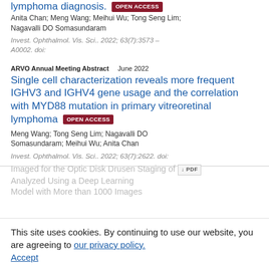lymphoma diagnosis. [OPEN ACCESS]
Anita Chan; Meng Wang; Meihui Wu; Tong Seng Lim; Nagavalli DO Somasundaram
Invest. Ophthalmol. Vis. Sci.. 2022; 63(7):3573 – A0002. doi:
ARVO Annual Meeting Abstract   June 2022
Single cell characterization reveals more frequent IGHV3 and IGHV4 gene usage and the correlation with MYD88 mutation in primary vitreoretinal lymphoma [OPEN ACCESS]
Meng Wang; Tong Seng Lim; Nagavalli DO Somasundaram; Meihui Wu; Anita Chan
Invest. Ophthalmol. Vis. Sci.. 2022; 63(7):2622. doi:
This site uses cookies. By continuing to use our website, you are agreeing to our privacy policy.
Accept